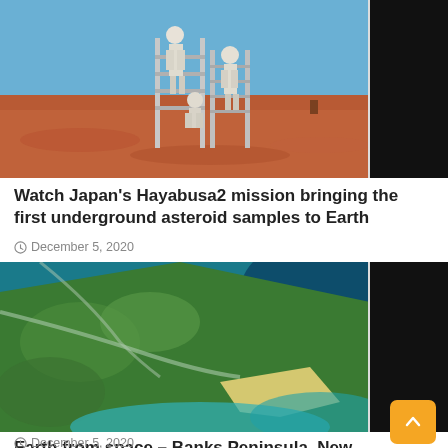[Figure (photo): People on a metal ladder/scaffold structure in an arid red desert landscape under blue sky, with a black rectangle on the right side]
Watch Japan’s Hayabusa2 mission bringing the first underground asteroid samples to Earth
December 5, 2020
[Figure (photo): Aerial/satellite view of Banks Peninsula, New Zealand showing green land with rivers meeting teal-blue ocean, with a black rectangle on the right side]
Earth from space – Banks Peninsula, New Zealand
December 5, 2020